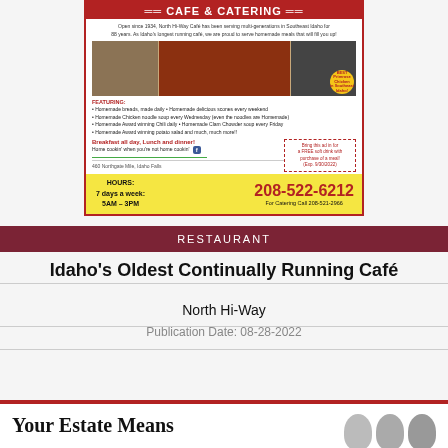[Figure (infographic): North Hi-Way Cafe & Catering advertisement with red header, food photos, bullet point features, coupon box, hours and phone number on yellow footer]
RESTAURANT
Idaho's Oldest Continually Running Café
North Hi-Way
Publication Date: 08-28-2022
[Figure (infographic): Bottom advertisement showing 'Your Estate Means' text with photos of people]